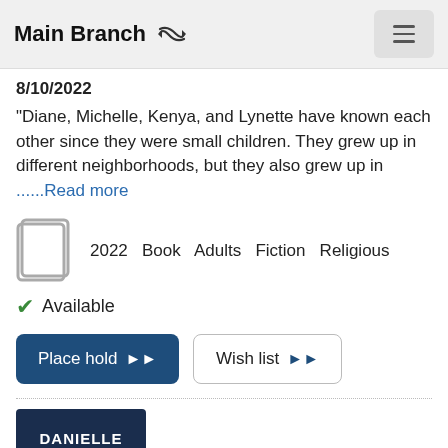Main Branch
8/10/2022
"Diane, Michelle, Kenya, and Lynette have known each other since they were small children. They grew up in different neighborhoods, but they also grew up in ......Read more
2022  Book  Adults  Fiction  Religious
Available
Place hold
Wish list
[Figure (photo): Book cover showing DANIELLE STEEL THE ... on dark blue background]